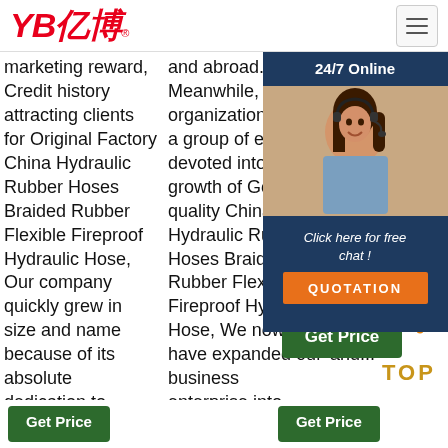[Figure (logo): YB亿博 logo in red italic text with registered trademark symbol]
marketing reward, Credit history attracting clients for Original Factory China Hydraulic Rubber Hoses Braided Rubber Flexible Fireproof Hydraulic Hose, Our company quickly grew in size and name because of its absolute dedication to superior quality manufacturing, large ...
and abroad. Meanwhile, our organization staffs a group of experts devoted into the growth of Good quality China Hydraulic Rubber Hoses Braided Rubber Flexible Fireproof Hydraulic Hose, We now have expanded our business enterprise into Germany, Turkey, Canada, U. S. A., Indonesia, India, Nigeria ...
$2.10-$199.00
[Figure (photo): 24/7 Online chat widget with woman customer service representative wearing headset, dark blue background, 'Click here for free chat!' text, orange QUOTATION button]
[Figure (other): Green Get Price button with orange dot decorations and gold TOP text badge]
Get Price
Get Price